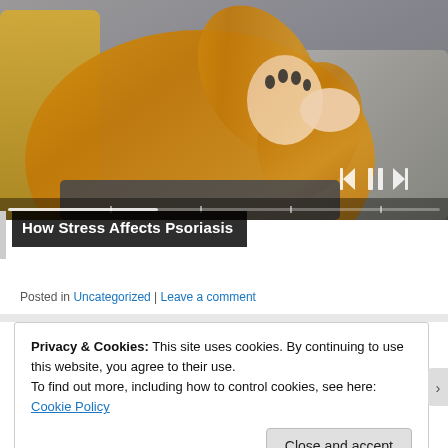[Figure (photo): A woman in a yellow/mustard knit sweater sitting on a couch, scratching or examining her elbow/arm. The image shows a video player interface with progress bar and media controls (skip back, pause, skip forward).]
How Stress Affects Psoriasis
Posted in Uncategorized | Leave a comment
Privacy & Cookies: This site uses cookies. By continuing to use this website, you agree to their use.
To find out more, including how to control cookies, see here: Cookie Policy